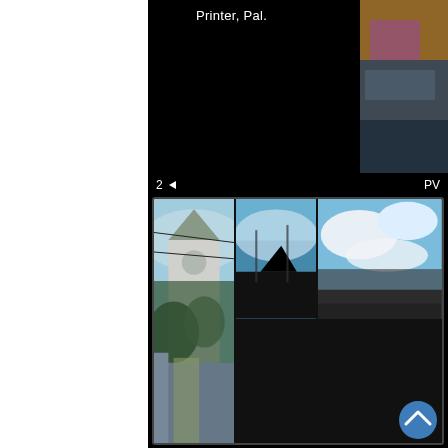Printer, Pal.
[Figure (screenshot): Mobile camera/photo app interface showing a dark UI with photo grid. Grid contains 4 thumbnails: top-left shows silhouette of a cat against blue sky with power lines; top-middle shows cloudy blue sky; right tall cell shows a church tower covered in ivy with city buildings; bottom-left shows a street-level shot with person's feet in sandals and building shadows. UI bar shows '2 ◄' on left and 'PV' on right. A circular upload/chevron-up button appears bottom-right of the grid. Right edge shows partial photos: colorful abstract top, dark blue mid, dark blue-navy bottom.]